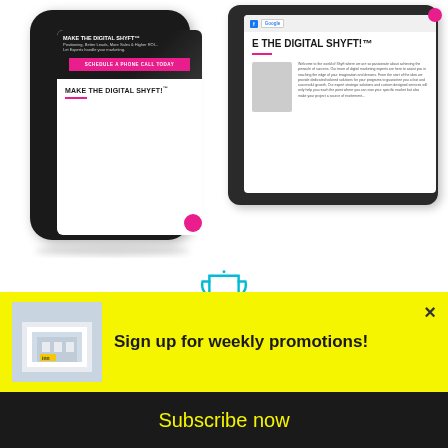[Figure (screenshot): Screenshot of digital marketing website showing phone and tablet mockups with 'MAKE THE DIGITAL SHYFT!' text, schedule button, and Google/Facebook logos]
[Figure (illustration): Teal outlined trophy icon with sparkles]
0
Sign up for weekly promotions!
Subscribe now